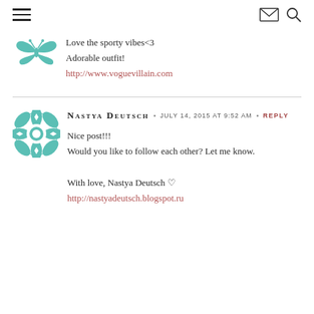Navigation header with hamburger menu, envelope icon, and search icon
[Figure (logo): Teal decorative butterfly/crown logo icon]
Love the sporty vibes<3
Adorable outfit!
http://www.voguevillain.com
[Figure (logo): Teal geometric floral/mandala avatar icon for Nastya Deutsch]
NASTYA DEUTSCH · JULY 14, 2015 AT 9:52 AM · REPLY
Nice post!!!
Would you like to follow each other? Let me know.
With love, Nastya Deutsch ♡
http://nastyadeutsch.blogspot.ru